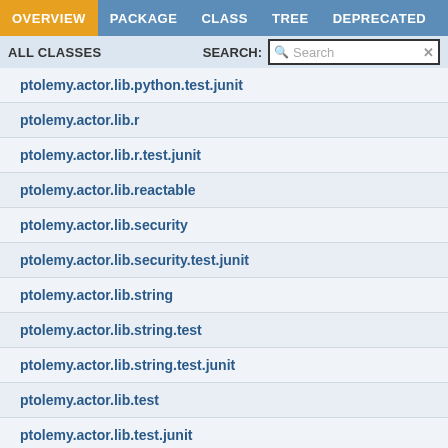OVERVIEW  PACKAGE  CLASS  TREE  DEPRECATED  INDEX
ALL CLASSES   SEARCH:  Search
ptolemy.actor.lib.python.test.junit
ptolemy.actor.lib.r
ptolemy.actor.lib.r.test.junit
ptolemy.actor.lib.reactable
ptolemy.actor.lib.security
ptolemy.actor.lib.security.test.junit
ptolemy.actor.lib.string
ptolemy.actor.lib.string.test
ptolemy.actor.lib.string.test.junit
ptolemy.actor.lib.test
ptolemy.actor.lib.test.junit
ptolemy.actor.lib.tutorial